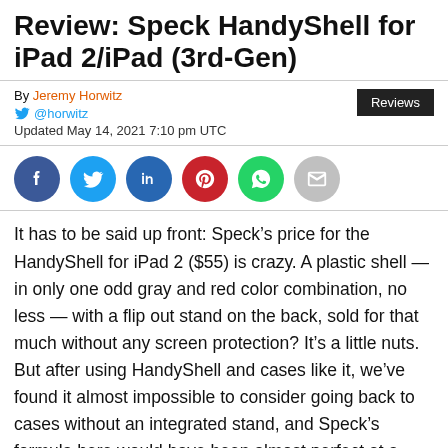Review: Speck HandyShell for iPad 2/iPad (3rd-Gen)
By Jeremy Horwitz
@horwitz
Updated May 14, 2021 7:10 pm UTC
[Figure (infographic): Social share icons: Facebook, Twitter, LinkedIn, Pinterest, WhatsApp, Email]
It has to be said up front: Speck’s price for the HandyShell for iPad 2 ($55) is crazy. A plastic shell — in only one odd gray and red color combination, no less — with a flip out stand on the back, sold for that much without any screen protection? It’s a little nuts. But after using HandyShell and cases like it, we’ve found it almost impossible to consider going back to cases without an integrated stand, and Speck’s formula here would have been almost perfect at a